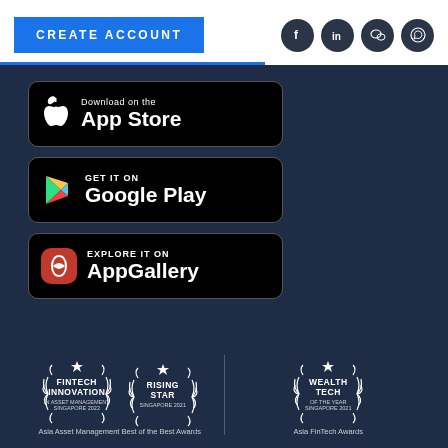[Figure (other): CREATE ACCOUNT button (blue) and social media icons (Facebook, LinkedIn, WeChat, WhatsApp) on white top bar]
[Figure (other): Download on the App Store badge (black rounded rectangle with Apple logo)]
[Figure (other): GET IT ON Google Play badge (black rounded rectangle with Google Play logo)]
[Figure (other): EXPLORE IT ON AppGallery badge (black rounded rectangle with Huawei logo)]
[Figure (other): Award badges: FINTECH INNOVATION IN ASSET MANAGEMENT SINGAPORE 2022, RISING STAR SINGAPORE 2021 (Asia Asset Management Best of the Best Awards), and WEALTH TECH OF THE YEAR SINGAPORE 2021 (Asia FinTech Awards)]
Asia Asset Management Best of the Best Awards
Asia FinTech Awards